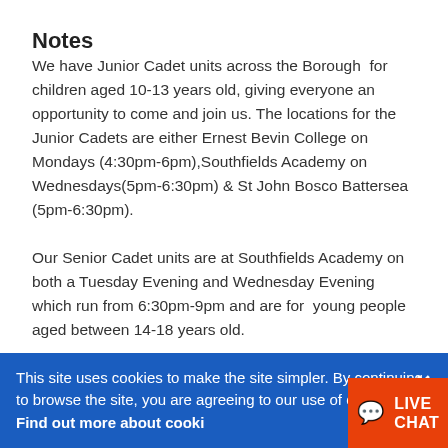Notes
We have Junior Cadet units across the Borough  for children aged 10-13 years old, giving everyone an opportunity to come and join us. The locations for the Junior Cadets are either Ernest Bevin College on Mondays (4:30pm-6pm),Southfields Academy on Wednesdays(5pm-6:30pm) & St John Bosco Battersea (5pm-6:30pm).
Our Senior Cadet units are at Southfields Academy on both a Tuesday Evening and Wednesday Evening which run from 6:30pm-9pm and are for  young people aged between 14-18 years old.
This site uses cookies to make the site simpler. By continuing to browse the site, you are agreeing to our use of cookies. Find out more about cookies